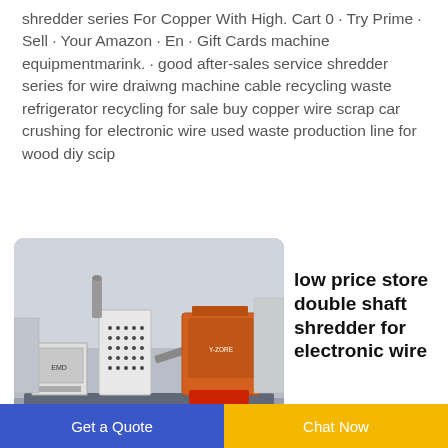shredder series For Copper With High. Cart 0 · Try Prime · Sell · Your Amazon · En · Gift Cards machine equipmentmarink. · good after-sales service shredder series for wire draiwng machine cable recycling waste refrigerator recycling for sale buy copper wire scrap car crushing for electronic wire used waste production line for wood diy scip
[Figure (photo): Industrial cable recycling machine / double shaft shredder equipment in a warehouse. Shows white control panel, conveyor belt, and shredder unit on a platform.]
low price store double shaft shredder for electronic wire
Get a Quote   Chat Now